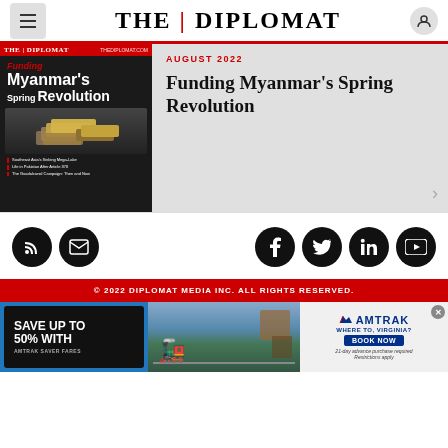THE | DIPLOMAT
[Figure (screenshot): Magazine cover showing 'Funding Myanmar's Spring Revolution' with money pile image on dark background]
AUGUST 2022
Funding Myanmar’s Spring Revolution
[Figure (infographic): Social media icons: RSS feed, email, Facebook, Twitter, LinkedIn, YouTube — all black circles with white icons]
© 2022 DIPLOMAT MEDIA INC. ALL RIGHTS RESERVED.
[Figure (infographic): Amtrak advertisement: 'SAVE UP TO 50% WITH AMTRAK SAVER FARES' with train photo, Amtrak logo, 'WHERE TO, VIRGINIA?' tagline, BOOK NOW button, '21-day advance purchase required. Restrictions apply.']